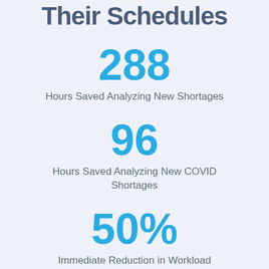Their Schedules
288
Hours Saved Analyzing New Shortages
96
Hours Saved Analyzing New COVID Shortages
50%
Immediate Reduction in Workload